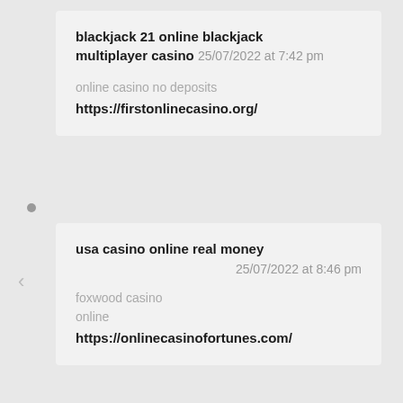blackjack 21 online blackjack multiplayer casino 25/07/2022 at 7:42 pm
online casino no deposits
https://firstonlinecasino.org/
usa casino online real money 25/07/2022 at 8:46 pm
foxwood casino online
https://onlinecasinofortunes.com/